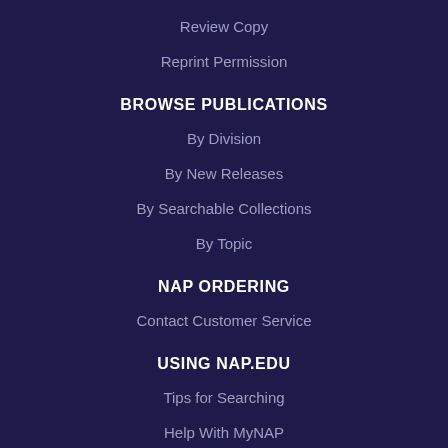Review Copy
Reprint Permission
BROWSE PUBLICATIONS
By Division
By New Releases
By Searchable Collections
By Topic
NAP ORDERING
Contact Customer Service
USING NAP.EDU
Tips for Searching
Help With MyNAP
Downloading and Reading PDFs